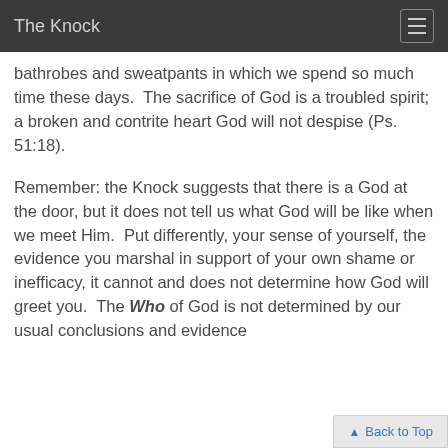The Knock
bathrobes and sweatpants in which we spend so much time these days.  The sacrifice of God is a troubled spirit; a broken and contrite heart God will not despise (Ps. 51:18).
Remember: the Knock suggests that there is a God at the door, but it does not tell us what God will be like when we meet Him.  Put differently, your sense of yourself, the evidence you marshal in support of your own shame or inefficacy, it cannot and does not determine how God will greet you.  The Who of God is not determined by our usual conclusions and evidence